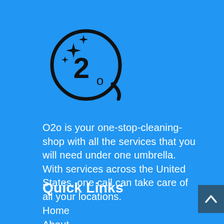[Figure (logo): O2o cleaning company logo: a circle with sparkle stars and the number 2 with subscript o inside]
O2o is your one-stop-cleaning-shop with all the services that you will need under one umbrella. With services across the United States, one call can take care of all your locations.
Quick Links
Home
About